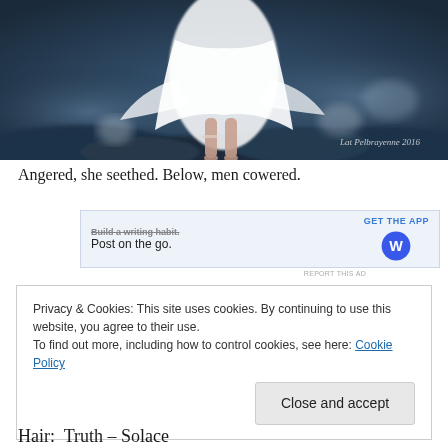[Figure (illustration): Digital illustration of a female figure in a flowing white dress, floating or levitating above dark rocky ground. Background is dark blue with blurred rocks. Watermark text reads 'Lat Pelbrayenne 2016' in cursive at lower right.]
Angered, she seethed. Below, men cowered.
[Figure (screenshot): Advertisement banner for WordPress app. Shows 'Build a writing habit.' (struck-through), 'Post on the go.' text on the left, 'GET THE APP' button and WordPress logo on the right. Light blue background.]
REPORT THIS AD
Privacy & Cookies: This site uses cookies. By continuing to use this website, you agree to their use.
To find out more, including how to control cookies, see here: Cookie Policy

Close and accept
Hair:  Truth – Solace